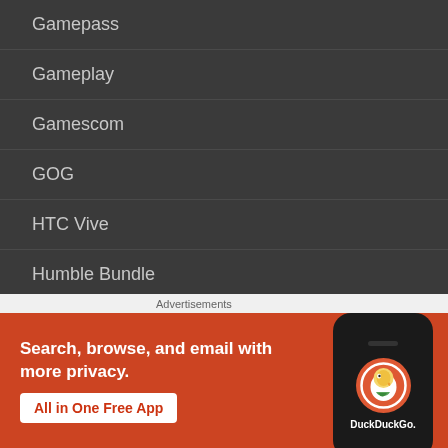Gamepass
Gameplay
Gamescom
GOG
HTC Vive
Humble Bundle
Industry News
Advertisements
[Figure (screenshot): DuckDuckGo advertisement banner: 'Search, browse, and email with more privacy. All in One Free App' with DuckDuckGo logo on a phone mockup, orange/red background]